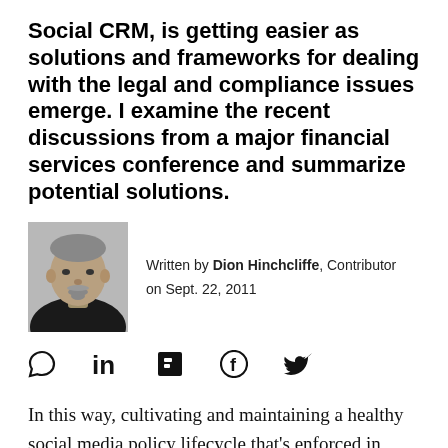Social CRM, is getting easier as solutions and frameworks for dealing with the legal and compliance issues emerge. I examine the recent discussions from a major financial services conference and summarize potential solutions.
[Figure (photo): Black and white headshot photo of Dion Hinchcliffe, a middle-aged man with short gray hair and a goatee, wearing a dark jacket.]
Written by Dion Hinchcliffe, Contributor on Sept. 22, 2011
[Figure (infographic): Social sharing icons: comment bubble, LinkedIn, Flipboard, Facebook, Twitter]
In this way, cultivating and maintaining a healthy social media policy lifecycle that's enforced in close concert with legal, HR, and compliance is a key strategy for success. Earlier this week I was in